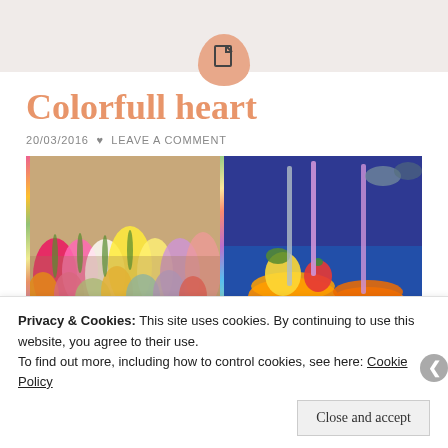[Figure (logo): Document/file icon in a salmon-colored teardrop/circle shape at top center]
Colorfull heart
20/03/2016 ♥ LEAVE A COMMENT
[Figure (photo): Two side-by-side photos: left shows colorful tulips in a flower market, right shows colorful fruit drinks with straws]
Privacy & Cookies: This site uses cookies. By continuing to use this website, you agree to their use.
To find out more, including how to control cookies, see here: Cookie Policy
Close and accept